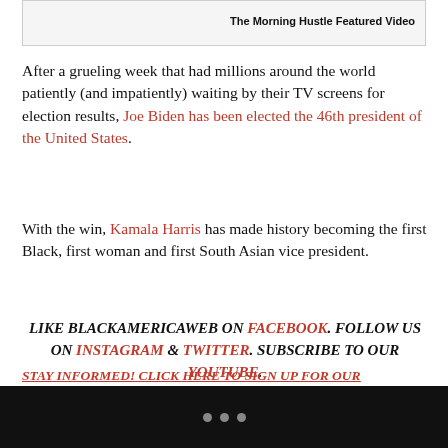[Figure (screenshot): The Morning Hustle Featured Video placeholder box]
After a grueling week that had millions around the world patiently (and impatiently) waiting by their TV screens for election results, Joe Biden has been elected the 46th president of the United States.
With the win, Kamala Harris has made history becoming the first Black, first woman and first South Asian vice president.
LIKE BLACKAMERICAWEB ON FACEBOOK. FOLLOW US ON INSTAGRAM & TWITTER. SUBSCRIBE TO OUR YOUTUBE.
When the news broke, people took to social media to express their feelings about the election including celebrities like Kerry Washington, Lizzo, and D.L. Hughley.
STAY INFORMED! CLICK HERE TO SIGN UP FOR OUR